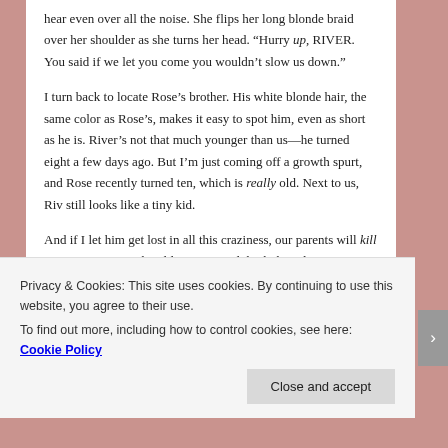hear even over all the noise. She flips her long blonde braid over her shoulder as she turns her head. “Hurry up, RIVER. You said if we let you come you wouldn’t slow us down.”
I turn back to locate Rose’s brother. His white blonde hair, the same color as Rose’s, makes it easy to spot him, even as short as he is. River’s not that much younger than us—he turned eight a few days ago. But I’m just coming off a growth spurt, and Rose recently turned ten, which is really old. Next to us, Riv still looks like a tiny kid.
And if I let him get lost in all this craziness, our parents will kill me. Sure, Rose is the oldest, so you’d think they’d
Privacy & Cookies: This site uses cookies. By continuing to use this website, you agree to their use.
To find out more, including how to control cookies, see here: Cookie Policy